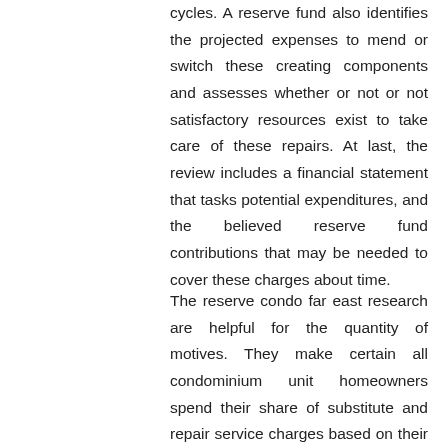cycles. A reserve fund also identifies the projected expenses to mend or switch these creating components and assesses whether or not or not satisfactory resources exist to take care of these repairs. At last, the review includes a financial statement that tasks potential expenditures, and the believed reserve fund contributions that may be needed to cover these charges about time.
The reserve condo far east research are helpful for the quantity of motives. They make certain all condominium unit homeowners spend their share of substitute and repair service charges based on their duration of possession. Prospective condominium customers have become much more aware of the importance of reserve fund studies and depend on them when determining irrespective of whether or to not get. And in the end, these scientific studies enable make proactive routine maintenance plans, lower mend costs and help save house owners